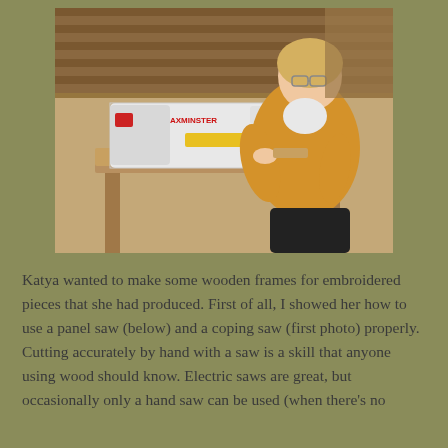[Figure (photo): A woman wearing a yellow/mustard hoodie and glasses sits at a wooden workbench using an Axminster scroll saw or similar power tool in a wood workshop. Stacks of lumber are visible in the background.]
Katya wanted to make some wooden frames for embroidered pieces that she had produced. First of all, I showed her how to use a panel saw (below) and a coping saw (first photo) properly. Cutting accurately by hand with a saw is a skill that anyone using wood should know. Electric saws are great, but occasionally only a hand saw can be used (when there's no